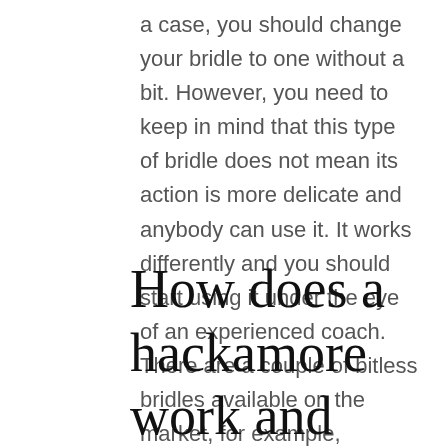a case, you should change your bridle to one without a bit. However, you need to keep in mind that this type of bridle does not mean its action is more delicate and anybody can use it. It works differently and you should start using it under the eye of an experienced coach. There are a couple of bitless bridles available on the market, for example, scawbrig, bosal, or the more and more popular hackamore.
How does a hackamore work and who can use it?